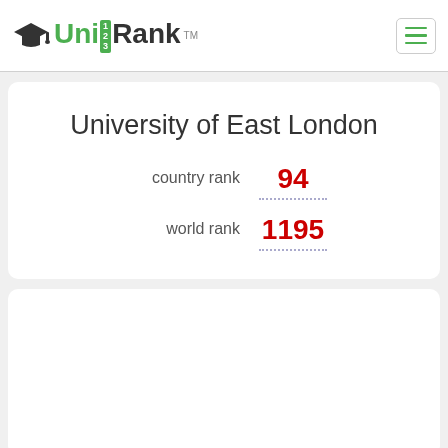UniRank TM
University of East London
country rank 94
world rank 1195